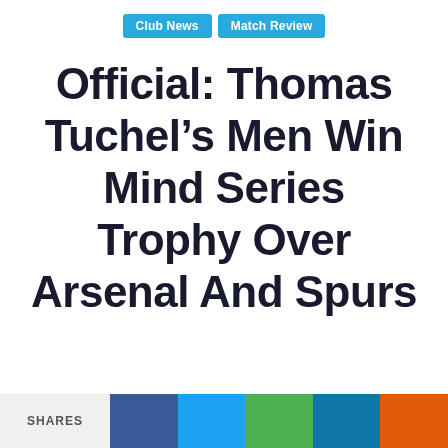Club News | Match Review
Official: Thomas Tuchel’s Men Win Mind Series Trophy Over Arsenal And Spurs
SHARES